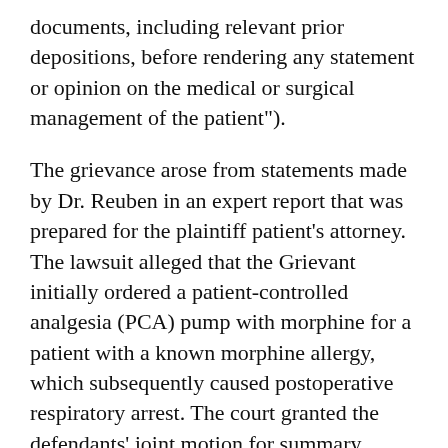documents, including relevant prior depositions, before rendering any statement or opinion on the medical or surgical management of the patient").
The grievance arose from statements made by Dr. Reuben in an expert report that was prepared for the plaintiff patient’s attorney. The lawsuit alleged that the Grievant initially ordered a patient-controlled analgesia (PCA) pump with morphine for a patient with a known morphine allergy, which subsequently caused postoperative respiratory arrest. The court granted the defendants’ joint motion for summary judgment and dismissed the case.
The patient in the underlying case had undergone an elective anterior cervical diskectomy and fusion polytheretherketone (PEEK) cage and an